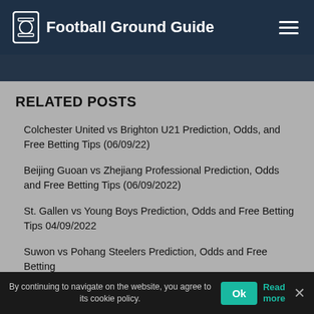Football Ground Guide
RELATED POSTS
Colchester United vs Brighton U21 Prediction, Odds, and Free Betting Tips (06/09/22)
Beijing Guoan vs Zhejiang Professional Prediction, Odds and Free Betting Tips (06/09/2022)
St. Gallen vs Young Boys Prediction, Odds and Free Betting Tips 04/09/2022
Suwon vs Pohang Steelers Prediction, Odds and Free Betting Tips 06/09/2022
By continuing to navigate on the website, you agree to its cookie policy.